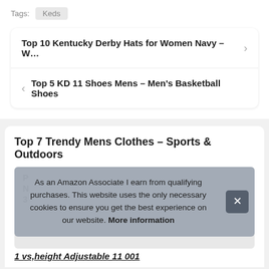Tags:  Keds
Top 10 Kentucky Derby Hats for Women Navy – W...
Top 5 KD 11 Shoes Mens – Men's Basketball Shoes
Top 7 Trendy Mens Clothes – Sports & Outdoors
As an Amazon Associate I earn from qualifying purchases. This website uses the only necessary cookies to ensure you get the best experience on our website. More information